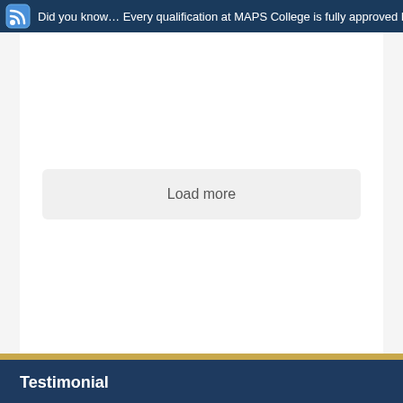Did you know… Every qualification at MAPS College is fully approved by
Load more
Testimonial
I chose MAPS College after proper considerations by responding to suggestions provided by my friends and family and by doing proper research. While undertaking the research, I was overwhelmed to discover the remarkable facilities offered to students such as easy accessibility to online libraries with important books, articles, journals and spacious classrooms with brilliant lecturers. Without any doubt, I will recommend MAPS College to anyone interested in their higher education in Maldi…